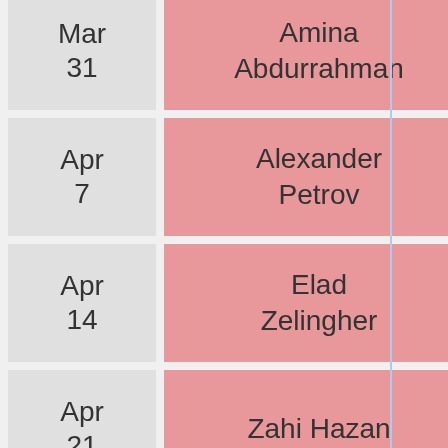| Date | Name |  |
| --- | --- | --- |
| Mar 31 | Amina Abdurrahman |  |
| Apr 7 | Alexander Petrov |  |
| Apr 14 | Elad Zelingher |  |
| Apr 21 | Zahi Hazan |  |
| Apr 28 | Lea Beneish |  |
| May |  |  |